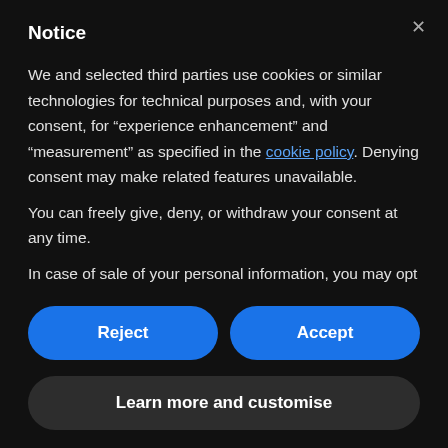Notice
We and selected third parties use cookies or similar technologies for technical purposes and, with your consent, for “experience enhancement” and “measurement” as specified in the cookie policy. Denying consent may make related features unavailable.
You can freely give, deny, or withdraw your consent at any time.
In case of sale of your personal information, you may opt
Reject
Accept
Learn more and customise